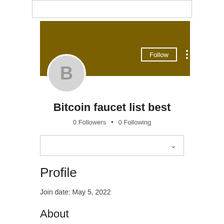[Figure (screenshot): Search bar at top of page, partially visible]
[Figure (illustration): Profile banner with olive/dark-yellow background color, Follow button and three-dot menu visible on the right, circular avatar with letter B on bottom left]
Bitcoin faucet list best
0 Followers • 0 Following
[Figure (screenshot): Dropdown selector box with chevron icon]
Profile
Join date: May 5, 2022
About